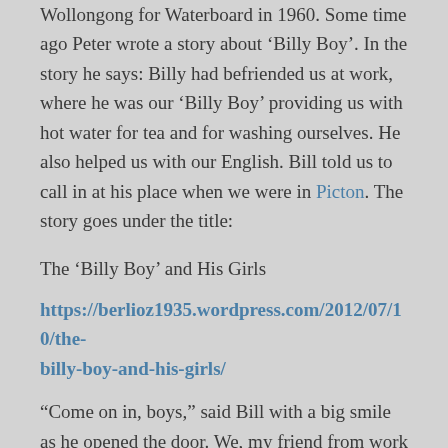Wollongong for Waterboard in 1960. Some time ago Peter wrote a story about 'Billy Boy'. In the story he says: Billy had befriended us at work, where he was our 'Billy Boy' providing us with hot water for tea and for washing ourselves. He also helped us with our English. Bill told us to call in at his place when we were in Picton. The story goes under the title:
The 'Billy Boy' and His Girls
https://berlioz1935.wordpress.com/2012/07/10/the-billy-boy-and-his-girls/
“Come on in, boys,” said Bill with a big smile as he opened the door. We, my friend from work and me, did not consider ourselves boys, but he was close to fifty years older than we were. From his point of view we